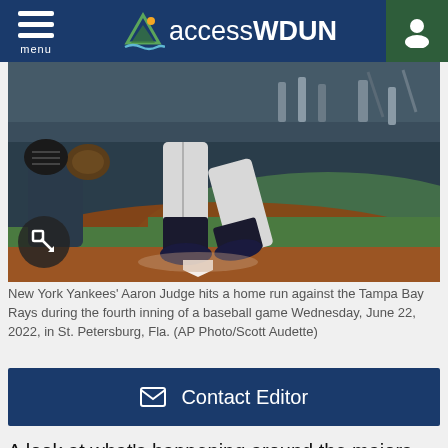menu | accessWDUN
[Figure (photo): Baseball player (Aaron Judge, New York Yankees) hitting a home run, showing legs and cleats near home plate, with catcher visible in background. Sports action photo from a baseball game.]
New York Yankees' Aaron Judge hits a home run against the Tampa Bay Rays during the fourth inning of a baseball game Wednesday, June 22, 2022, in St. Petersburg, Fla. (AP Photo/Scott Audette)
✉  Contact Editor
A look at what's happening around the majors today: